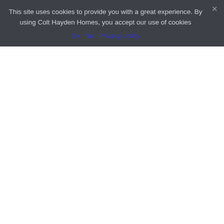This site uses cookies to provide you with a great experience. By using Colt Hayden Homes, you accept our use of cookies
Ok   No   Privacy policy